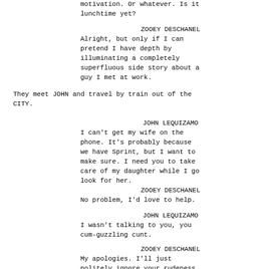motivation. Or whatever. Is it
lunchtime yet?
ZOOEY DESCHANEL
Alright, but only if I can
pretend I have depth by
illuminating a completely
superfluous side story about a
guy I met at work.
They meet JOHN and travel by train out of the
CITY.
JOHN LEQUIZAMO
I can't get my wife on the
phone. It's probably because
we have Sprint, but I want to
make sure. I need you to take
care of my daughter while I go
look for her.
ZOOEY DESCHANEL
No problem, I'd love to help.
JOHN LEQUIZAMO
I wasn't talking to you, you
cum-guzzling cunt.
ZOOEY DESCHANEL
My apologies. I'll just
politely ignore your rudeness
and take care of your daughter